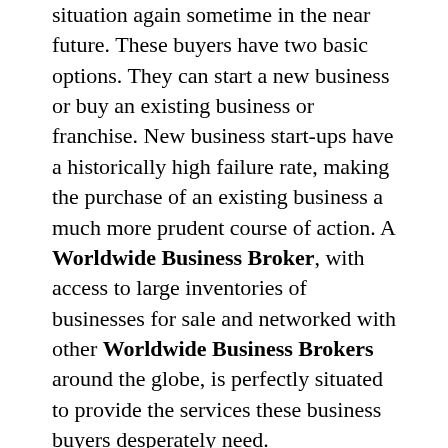situation again sometime in the near future. These buyers have two basic options. They can start a new business or buy an existing business or franchise. New business start-ups have a historically high failure rate, making the purchase of an existing business a much more prudent course of action. A Worldwide Business Broker, with access to large inventories of businesses for sale and networked with other Worldwide Business Brokers around the globe, is perfectly situated to provide the services these business buyers desperately need.
We offer complete start up assistance, training and support, a proprietary data package intranet, logos, artwork, an online network and years of experience in the executive business of selling businesses from $250,000 to $20,000,000. For a list of Frequently Asked Questions and a discussion of